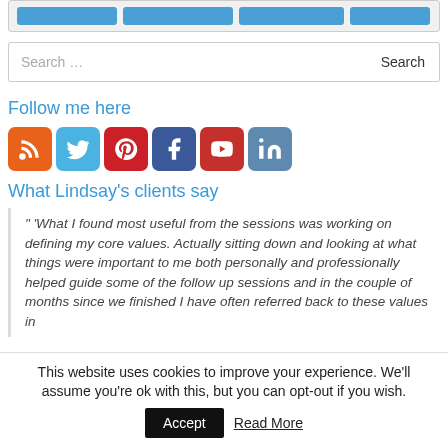[Figure (screenshot): Partial top bar with blue navigation tab buttons]
Search ...
Follow me here
[Figure (infographic): Row of social media icons: RSS (orange), Twitter (light blue), Pinterest (red), Facebook (dark blue), YouTube (red), LinkedIn (blue-grey)]
What Lindsay's clients say
" 'What I found most useful from the sessions was working on defining my core values. Actually sitting down and looking at what things were important to me both personally and professionally helped guide some of the follow up sessions and in the couple of months since we finished I have often referred back to these values in
This website uses cookies to improve your experience. We'll assume you're ok with this, but you can opt-out if you wish.